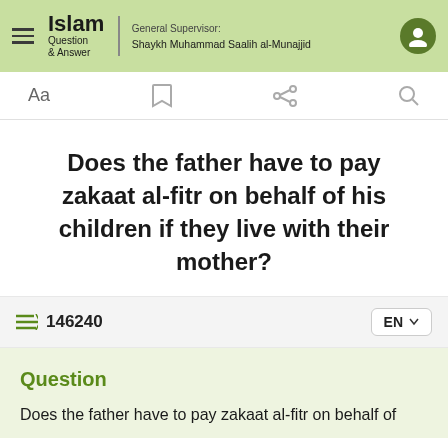Islam Question & Answer — General Supervisor: Shaykh Muhammad Saalih al-Munajjid
Does the father have to pay zakaat al-fitr on behalf of his children if they live with their mother?
146240
Question
Does the father have to pay zakaat al-fitr on behalf of